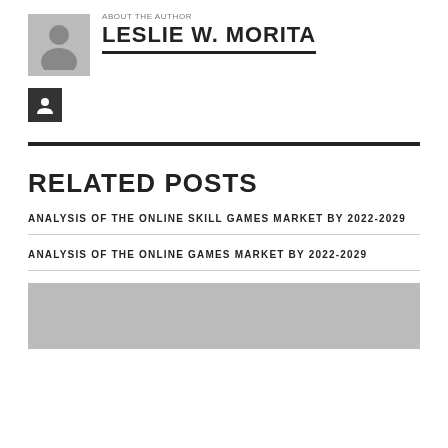[Figure (photo): Gray placeholder avatar icon of a person silhouette]
ABOUT THE AUTHOR
LESLIE W. MORITA
[Figure (illustration): Dark square button with a person/user icon inside]
RELATED POSTS
ANALYSIS OF THE ONLINE SKILL GAMES MARKET BY 2022-2029
ANALYSIS OF THE ONLINE GAMES MARKET BY 2022-2029
[Figure (photo): Gray placeholder thumbnail image]